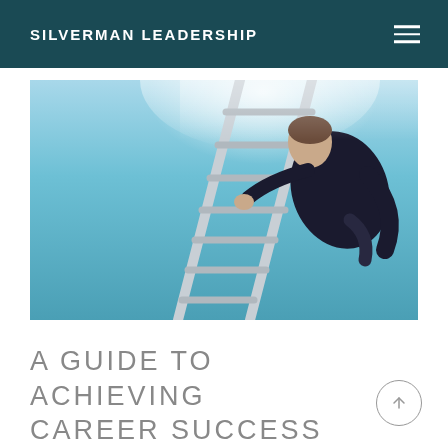SILVERMAN LEADERSHIP
[Figure (photo): A man in a dark suit climbing a metal ladder against a bright blue sky, photographed from below looking up. The image conveys ambition and upward progression.]
A GUIDE TO ACHIEVING CAREER SUCCESS